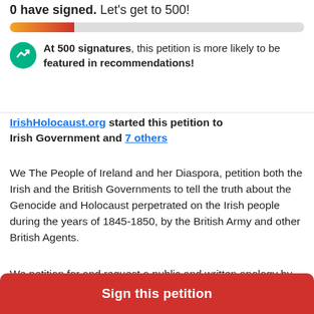0 have signed. Let's get to 500!
[Figure (infographic): Progress bar showing a small orange-to-red gradient fill on a grey background, representing 0 of 500 signatures.]
At 500 signatures, this petition is more likely to be featured in recommendations!
IrishHolocaust.org started this petition to Irish Government and 7 others
We The People of Ireland and her Diaspora, petition both the Irish and the British Governments to tell the truth about the Genocide and Holocaust perpetrated on the Irish people during the years of 1845-1850, by the British Army and other British Agents.
We petition for and request a public and written apology by both Governments, to the Irish People
Sign this petition